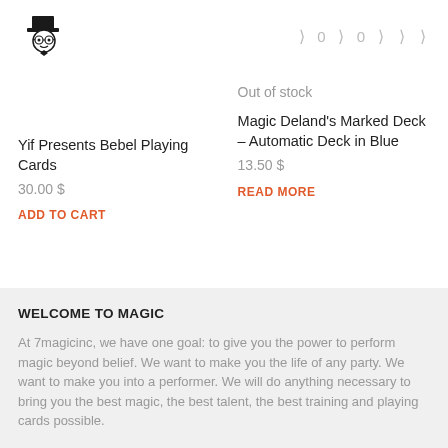[Figure (logo): 7magicinc logo — cartoon magician with top hat and glasses]
[ 0 [ 0 [ [ [
Yif Presents Bebel Playing Cards
30.00 $
ADD TO CART
Out of stock
Magic Deland's Marked Deck – Automatic Deck in Blue
13.50 $
READ MORE
WELCOME TO MAGIC
At 7magicinc, we have one goal: to give you the power to perform magic beyond belief. We want to make you the life of any party. We want to make you into a performer. We will do anything necessary to bring you the best magic, the best talent, the best training and playing cards possible.